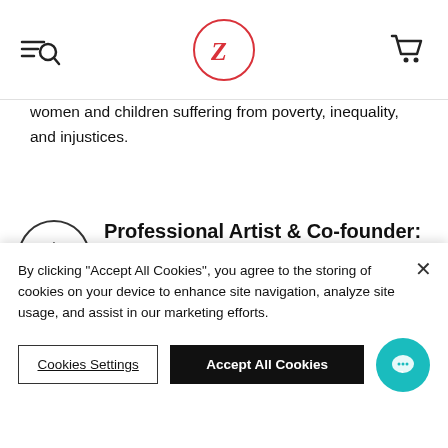[Navigation: search icon, ZenART logo, cart icon]
women and children suffering from poverty, inequality, and injustices.
Professional Artist & Co-founder: Ardak Kassenova
We are a company founded and run by passionate artists and art enthusiasts. Ardak Kassenova created ZenART with the belief that its clients would never be
By clicking "Accept All Cookies", you agree to the storing of cookies on your device to enhance site navigation, analyze site usage, and assist in our marketing efforts.
Cookies Settings
Accept All Cookies